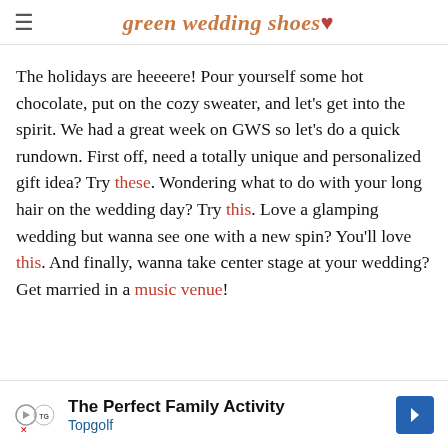green wedding shoes ♥
The holidays are heeeere! Pour yourself some hot chocolate, put on the cozy sweater, and let's get into the spirit. We had a great week on GWS so let's do a quick rundown. First off, need a totally unique and personalized gift idea? Try these. Wondering what to do with your long hair on the wedding day? Try this. Love a glamping wedding but wanna see one with a new spin? You'll love this. And finally, wanna take center stage at your wedding? Get married in a music venue!
[Figure (other): Advertisement banner for Topgolf: 'The Perfect Family Activity' with Topgolf logo and blue arrow icon]